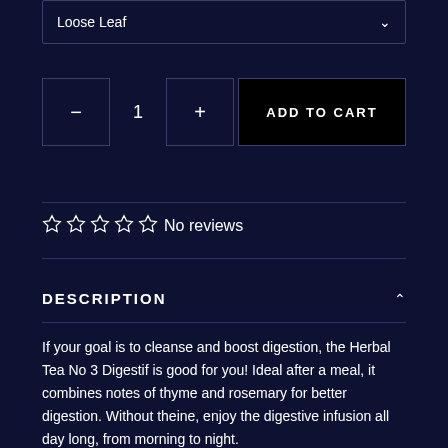Loose Leaf
1
ADD TO CART
☆ ☆ ☆ ☆ ☆ No reviews
DESCRIPTION
If your goal is to cleanse and boost digestion, the Herbal Tea No 3 Digestif is good for you! Ideal after a meal, it combines notes of thyme and rosemary for better digestion. Without theine, enjoy the digestive infusion all day long, from morning to night.